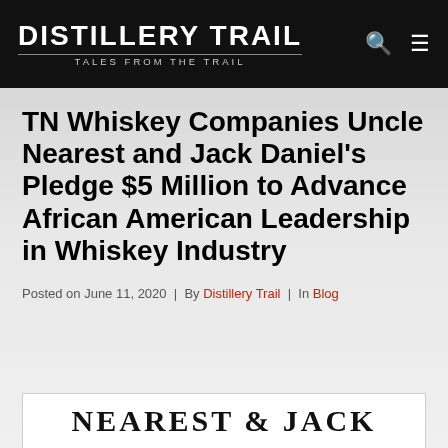DISTILLERY TRAIL | TALES FROM THE TRAIL
TN Whiskey Companies Uncle Nearest and Jack Daniel's Pledge $5 Million to Advance African American Leadership in Whiskey Industry
Posted on June 11, 2020  |  By Distillery Trail  |  In Blog
[Figure (photo): Partial image preview showing 'NEAREST & JACK' text in bold serif font on white background]